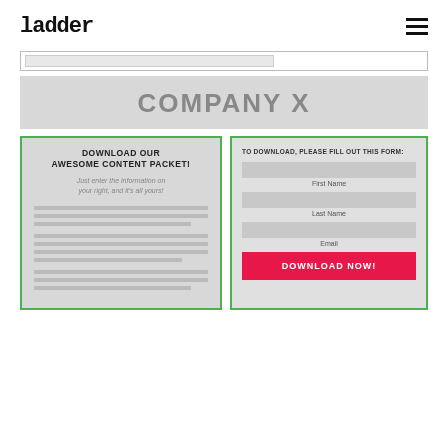ladder
[Figure (screenshot): Navigation bar with URL/search bar, showing inner rectangle]
COMPANY X
DOWNLOAD OUR AWESOME CONTENT PACKET! Just enter the information on your right, and it's all yours!
TO DOWNLOAD, PLEASE FILL OUT THIS FORM: First Name Last Name Email DOWNLOAD NOW!